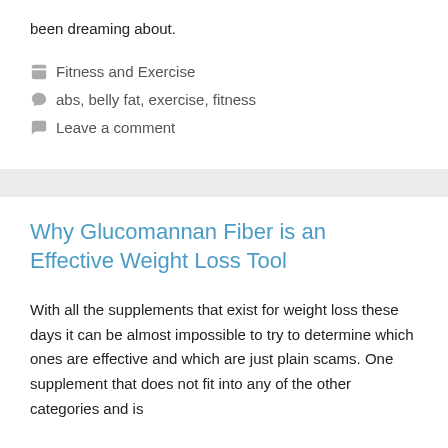been dreaming about.
Fitness and Exercise
abs, belly fat, exercise, fitness
Leave a comment
Why Glucomannan Fiber is an Effective Weight Loss Tool
With all the supplements that exist for weight loss these days it can be almost impossible to try to determine which ones are effective and which are just plain scams. One supplement that does not fit into any of the other categories and is